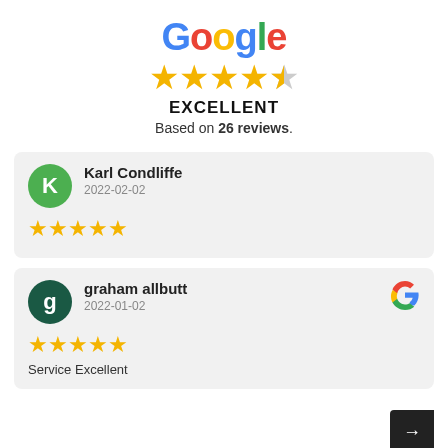[Figure (logo): Google logo with colorful letters]
[Figure (other): 4.5 out of 5 gold stars rating]
EXCELLENT
Based on 26 reviews.
Karl Condliffe
2022-02-02
★★★★★
graham allbutt
2022-01-02
★★★★★
Service Excellent